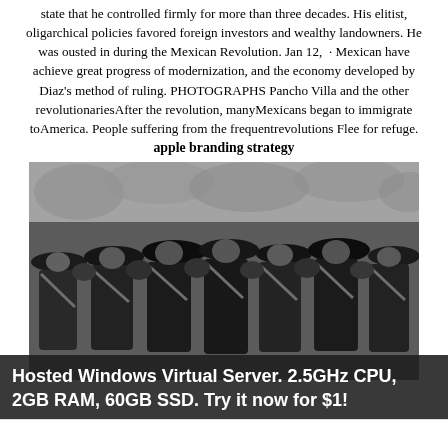state that he controlled firmly for more than three decades. His elitist, oligarchical policies favored foreign investors and wealthy landowners. He was ousted in during the Mexican Revolution. Jan 12,  · Mexican have achieve great progress of modernization, and the economy developed by Diaz's method of ruling. PHOTOGRAPHS Pancho Villa and the other revolutionariesAfter the revolution, manyMexicans began to immigrate toAmerica. People suffering from the frequentrevolutions Flee for refuge.
apple branding strategy
[Figure (photo): Black and white historical photograph of Pancho Villa and other Mexican revolutionaries, a group of men wearing large sombreros and bandoliers, standing together outdoors.]
Hosted Windows Virtual Server. 2.5GHz CPU, 2GB RAM, 60GB SSD. Try it now for $1!